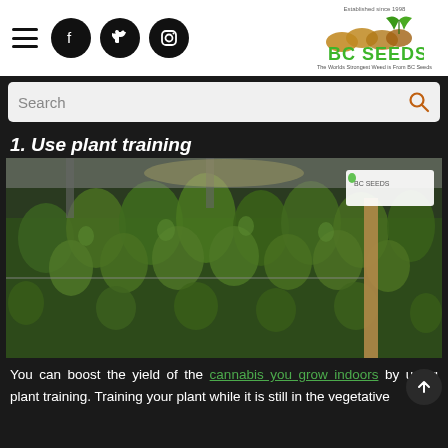BC Seeds navigation header with hamburger menu, Facebook, Twitter, Instagram icons, and BC Seeds logo. Established since 1998. The Worlds Strongest Weed is From BC Seeds.
Search
1. Use plant training
[Figure (photo): Indoor cannabis grow room with many dense green cannabis plants in flowering stage, under artificial lighting. BC Seeds watermark logo in top right corner.]
You can boost the yield of the cannabis you grow indoors by using plant training. Training your plant while it is still in the vegetative